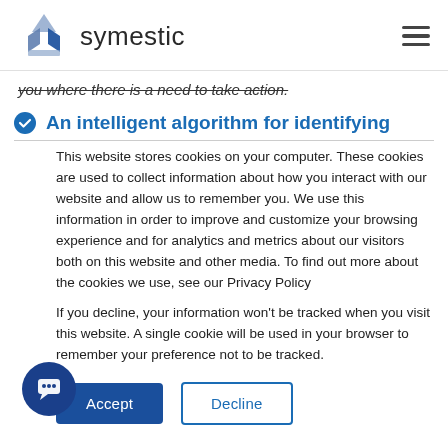[Figure (logo): Symestic logo with pyramid/diamond icon and 'symestic' text]
you where there is a need to take action.
An intelligent algorithm for identifying
This website stores cookies on your computer. These cookies are used to collect information about how you interact with our website and allow us to remember you. We use this information in order to improve and customize your browsing experience and for analytics and metrics about our visitors both on this website and other media. To find out more about the cookies we use, see our Privacy Policy
If you decline, your information won't be tracked when you visit this website. A single cookie will be used in your browser to remember your preference not to be tracked.